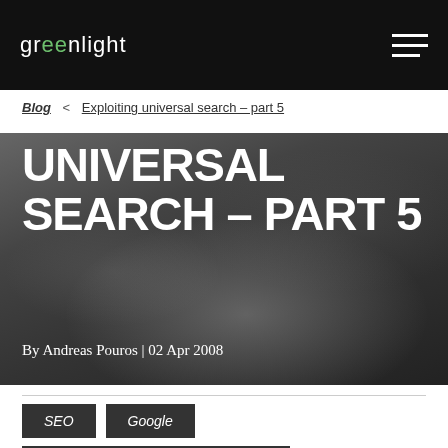greenlight
Blog < Exploiting universal search – part 5
UNIVERSAL SEARCH – PART 5
By Andreas Pouros | 02 Apr 2008
SEO
Google
Digital Strategy & Planning